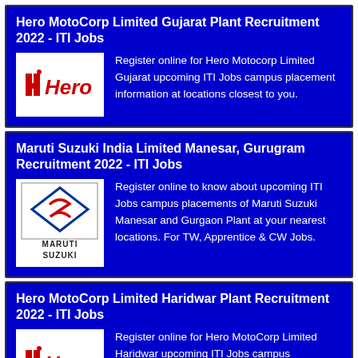Hero MotoCorp Limited Gujarat Plant Recruitment 2022 - ITI Jobs
Register online for Hero Motocorp Limited Gujarat upcoming ITI Jobs campus placement information at locations closest to you.
Maruti Suzuki India Limited Manesar, Gurugram Recruitment 2022 - ITI Jobs
Register online to know about upcoming ITI Jobs campus placements of Maruti Suzuki Manesar and Gurgaon Plant at your nearest locations. For TW, Apprentice & CW Jobs.
Hero MotoCorp Limited Haridwar Plant Recruitment 2022 - ITI Jobs
Register online for Hero MotoCorp Limited Haridwar upcoming ITI Jobs campus placement information at locations closest to you.